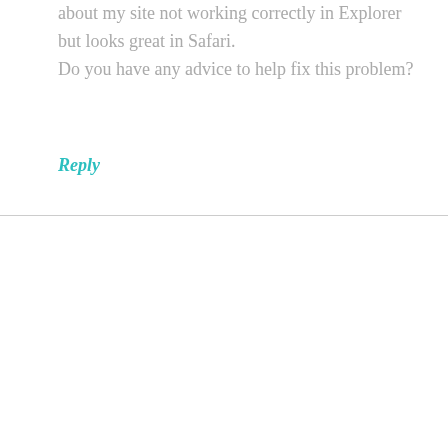about my site not working correctly in Explorer but looks great in Safari. Do you have any advice to help fix this problem?
Reply
https://www.easyfie.com/read-blog/1284494 says
June 23, 2022 at 11:23 pm
My relatives all the time say that I am wasting my time here at web, except I know I am getting familiarity everyday by reading such nice articles or reviews.